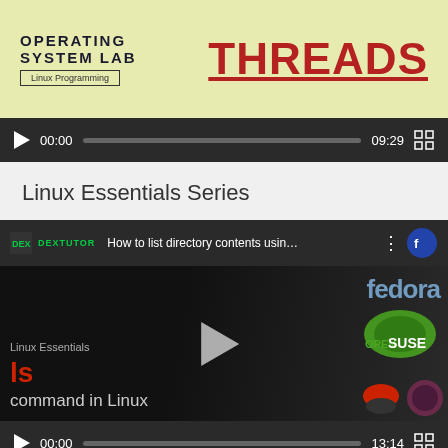[Figure (screenshot): Video thumbnail for Operating System Lab Linux Programming Threads video, showing a yellowish background with 'OPERATING SYSTEM LAB / Linux Programming' text and 'THREADS' in red bold letters. Below it is a video player controls bar showing 00:00 and 09:29 timestamps.]
Linux Essentials Series
[Figure (screenshot): Video thumbnail showing 'How to list directory contents usin...' by DEXTUTOR channel, with Linux Essentials text, 'ls' in red, 'command in Linux' text, and Linux distribution logos (fedora, openSUSE, Red Hat). Play button overlay. Duration 13:14 shown in controls bar.]